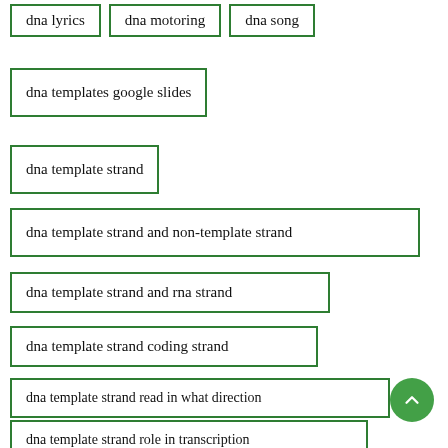dna lyrics
dna motoring
dna song
dna templates google slides
dna template strand
dna template strand and non-template strand
dna template strand and rna strand
dna template strand coding strand
dna template strand read in what direction
dna template strand role in transcription